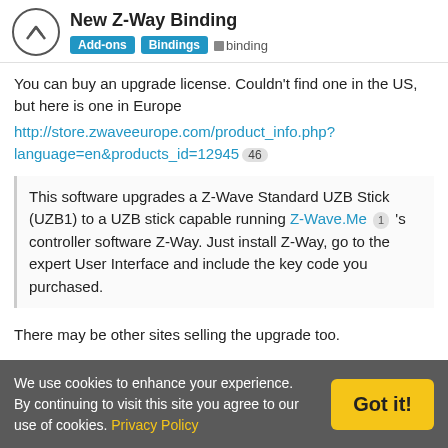New Z-Way Binding | Add-ons | Bindings | binding
You can buy an upgrade license. Couldn't find one in the US, but here is one in Europe http://store.zwaveeurope.com/product_info.php?language=en&products_id=12945 [46]
This software upgrades a Z-Wave Standard UZB Stick (UZB1) to a UZB stick capable running Z-Wave.Me [1] 's controller software Z-Way. Just install Z-Way, go to the expert User Interface and include the key code you purchased.
There may be other sites selling the upgrade too.
Please check our “Where to Buy” section for Point of Sales
We use cookies to enhance your experience. By continuing to visit this site you agree to our use of cookies. Privacy Policy